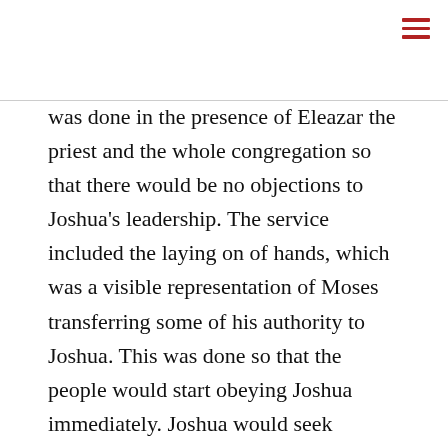was done in the presence of Eleazar the priest and the whole congregation so that there would be no objections to Joshua's leadership. The service included the laying on of hands, which was a visible representation of Moses transferring some of his authority to Joshua. This was done so that the people would start obeying Joshua immediately. Joshua would seek guidance of the Urim, which was a process of discerning the will of God.
We need to commission and invest in spiritual leaders who will shepherd the church and lead the church to carry out its stewardship of the gospel. As